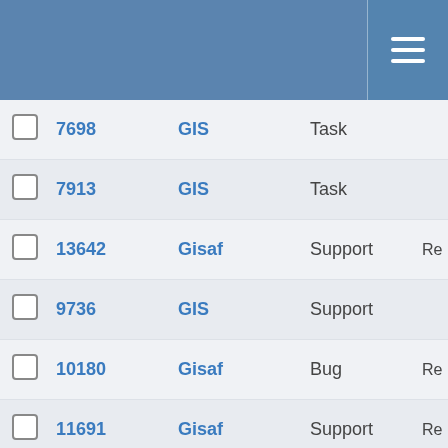|  | ID | Project | Type | Status |
| --- | --- | --- | --- | --- |
|  | 7698 | GIS | Task |  |
|  | 7913 | GIS | Task |  |
|  | 13642 | Gisaf | Support | Re… |
|  | 9736 | GIS | Support |  |
|  | 10180 | Gisaf | Bug | Re… |
|  | 11691 | Gisaf | Support | Re… |
|  | 7584 | Gisaf | Bug | In P… |